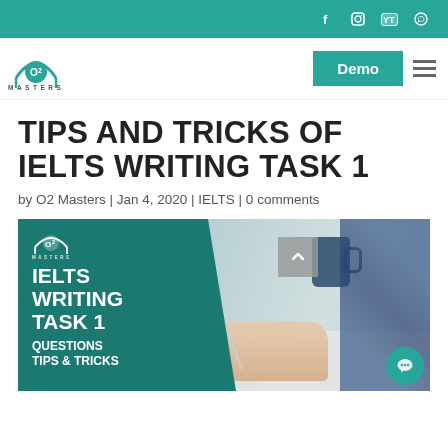Social media icons (Facebook, Instagram, YouTube, WhatsApp)
[Figure (logo): O2 Masters logo with teal arch and circle design, text MASTERS below]
Demo
TIPS AND TRICKS OF IELTS WRITING TASK 1
by O2 Masters | Jan 4, 2020 | IELTS | 0 comments
[Figure (photo): Promotional image for IELTS Writing Task 1. Left teal panel with O2 Masters logo and text: IELTS WRITING TASK 1 QUESTIONS TIPS & TRICKS. Right side shows a person's hands writing with a pen on a notepad, with a blue mug in the background.]